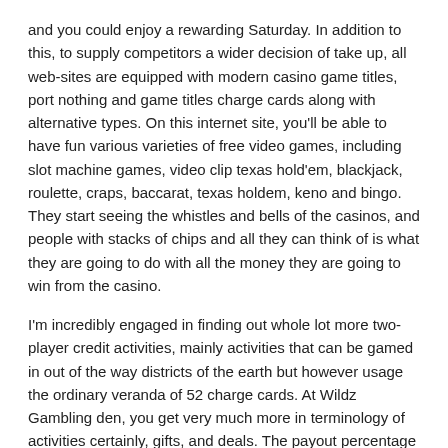and you could enjoy a rewarding Saturday. In addition to this, to supply competitors a wider decision of take up, all web-sites are equipped with modern casino game titles, port nothing and game titles charge cards along with alternative types. On this internet site, you'll be able to have fun various varieties of free video games, including slot machine games, video clip texas hold'em, blackjack, roulette, craps, baccarat, texas holdem, keno and bingo. They start seeing the whistles and bells of the casinos, and people with stacks of chips and all they can think of is what they are going to do with all the money they are going to win from the casino.
I'm incredibly engaged in finding out whole lot more two-player credit activities, mainly activities that can be gamed in out of the way districts of the earth but however usage the ordinary veranda of 52 charge cards. At Wildz Gambling den, you get very much more in terminology of activities certainly, gifts, and deals. The payout percentage controls how far the slot unit shall payout, for example the payout percentage might be 90%, meaning the slot game will payout 90% of all the bets played and the casino solely gets to keep 10%. Nevertheless, mainly because just 14% of UK grownups partake within casino video gaming (including slot devices), this